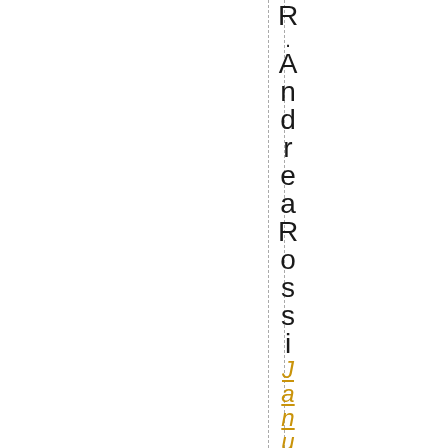R.
Andrea Rossi
January 28, 2022a